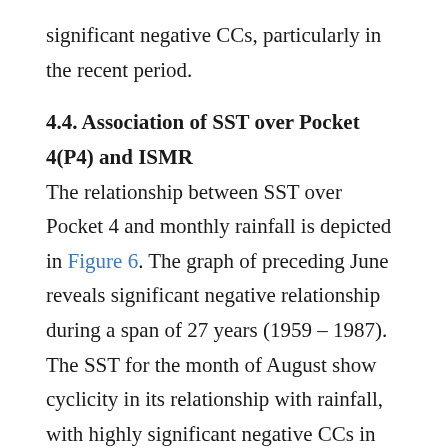significant negative CCs, particularly in the recent period.
4.4. Association of SST over Pocket 4(P4) and ISMR
The relationship between SST over Pocket 4 and monthly rainfall is depicted in Figure 6. The graph of preceding June reveals significant negative relationship during a span of 27 years (1959 – 1987). The SST for the month of August show cyclicity in its relationship with rainfall, with highly significant negative CCs in the beginning study period, followed by a phase change with subsequent significant positive CCs, and later undergoing another dramatic phase change leading again to significant